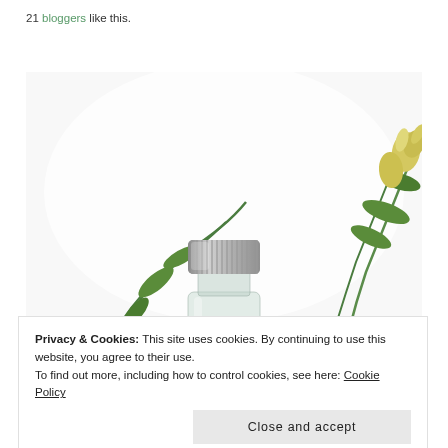21 bloggers like this.
[Figure (photo): A small glass essential oil bottle with a silver screw cap, filled with amber/orange liquid, surrounded by green plant stems and yellow flowers on a white background. A small 5ml label is visible at the bottom.]
Privacy & Cookies: This site uses cookies. By continuing to use this website, you agree to their use.
To find out more, including how to control cookies, see here: Cookie Policy
Close and accept